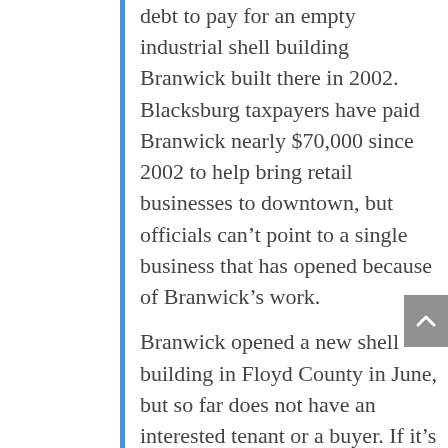debt to pay for an empty industrial shell building Branwick built there in 2002. Blacksburg taxpayers have paid Branwick nearly $70,000 since 2002 to help bring retail businesses to downtown, but officials can't point to a single business that has opened because of Branwick's work. Branwick opened a new shell building in Floyd County in June, but so far does not have an interested tenant or a buyer. If it's not filled by April 2007, the county will have to buy the $2 million building from Branwick. Two other NRV projects listed on the